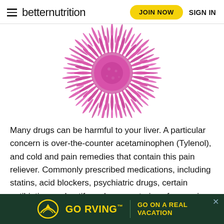betternutrition | JOIN NOW | SIGN IN
[Figure (photo): A vibrant pink/magenta spiky milk thistle flower head on a white background]
Many drugs can be harmful to your liver. A particular concern is over-the-counter acetaminophen (Tylenol), and cold and pain remedies that contain this pain reliever. Commonly prescribed medications, including statins, acid blockers, psychiatric drugs, certain antibiotics, and antifungals, are notorious for causing liver problems. To support ... daily supple...
[Figure (advertisement): GO RVING advertisement banner with dark green background and yellow text reading GO RVING with tagline GO ON A REAL VACATION]